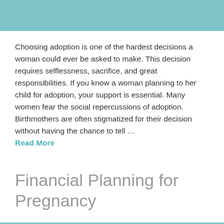[Figure (other): Teal/turquoise decorative header bar]
Choosing adoption is one of the hardest decisions a woman could ever be asked to make. This decision requires selflessness, sacrifice, and great responsibilities. If you know a woman planning to her child for adoption, your support is essential. Many women fear the social repercussions of adoption. Birthmothers are often stigmatized for their decision without having the chance to tell … Read More
Financial Planning for Pregnancy